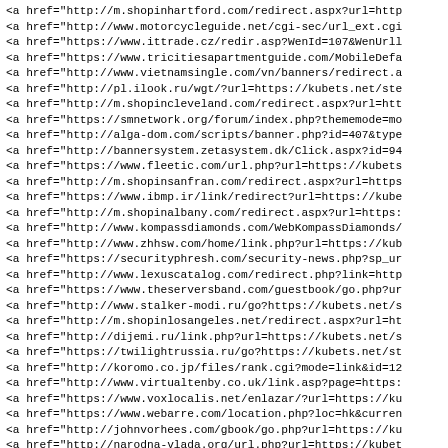<a href="http://m.shopinhartford.com/redirect.aspx?url=http
<a href="http://www.motorcycleguide.net/cgi-sec/url_ext.cgi
<a href="https://www.ittrade.cz/redir.asp?WenId=107&WenUrll
<a href="https://www.tricitiesapartmentguide.com/MobileDefa
<a href="http://www.vietnamsingle.com/vn/banners/redirect.a
<a href="http://pl.ilook.ru/wgt/?url=https://kubets.net/ste
<a href="http://m.shopincleveland.com/redirect.aspx?url=htt
<a href="https://smnetwork.org/forum/index.php?thememode=mo
<a href="http://alga-dom.com/scripts/banner.php?id=407&type
<a href="http://bannersystem.zetasystem.dk/Click.aspx?id=94
<a href="https://www.fleetic.com/url.php?url=https://kubets
<a href="http://m.shopinsanfran.com/redirect.aspx?url=https
<a href="https://www.ibmp.ir/link/redirect?url=https://kube
<a href="http://m.shopinalbany.com/redirect.aspx?url=https:
<a href="http://www.kompassdiamonds.com/WebKompassDiamonds/
<a href="http://www.zhhsw.com/home/link.php?url=https://kub
<a href="https://securityphresh.com/security-news.php?sp_ur
<a href="http://www.lexuscatalog.com/redirect.php?link=http
<a href="https://www.theserversband.com/guestbook/go.php?ur
<a href="http://www.stalker-modi.ru/go?https://kubets.net/s
<a href="http://m.shopinlosangeles.net/redirect.aspx?url=ht
<a href="http://dijemi.ru/link.php?url=https://kubets.net/s
<a href="https://twilightrussia.ru/go?https://kubets.net/st
<a href="http://koromo.co.jp/files/rank.cgi?mode=link&id=12
<a href="http://www.virtualtenby.co.uk/link.asp?page=https:
<a href="https://www.voxlocalis.net/enlazar/?url=https://ku
<a href="https://www.webarre.com/location.php?loc=hk&curren
<a href="http://johnvorhees.com/gbook/go.php?url=https://ku
<a href="http://narodna-vlada.org/url.php?url=https://kubet
<a href="http://d-click.eou.com.br/u/210/88/16386/291/af00